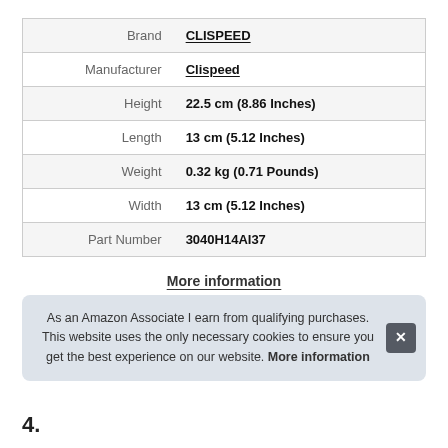| Label | Value |
| --- | --- |
| Brand | CLISPEED |
| Manufacturer | Clispeed |
| Height | 22.5 cm (8.86 Inches) |
| Length | 13 cm (5.12 Inches) |
| Weight | 0.32 kg (0.71 Pounds) |
| Width | 13 cm (5.12 Inches) |
| Part Number | 3040H14AI37 |
More information
As an Amazon Associate I earn from qualifying purchases. This website uses the only necessary cookies to ensure you get the best experience on our website. More information
4.